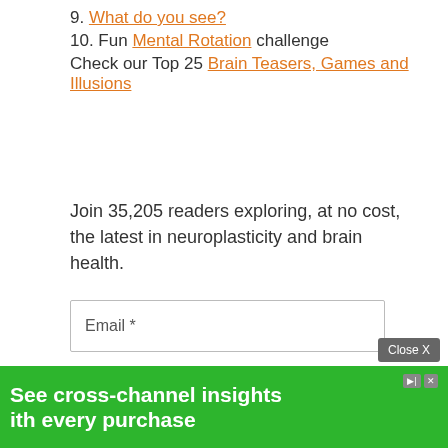9. What do you see?
10. Fun Mental Rotation challenge
Check our Top 25 Brain Teasers, Games and Illusions
Join 35,205 readers exploring, at no cost, the latest in neuroplasticity and brain health.
Email *
First Name *
Last Name *
SharpBrains Monthly eNewsletter
By subscribing you agree to receive our free monthly eNewsletter, and
[Figure (other): Green advertisement banner: 'See cross-channel insights with every purchase' with a Close X button]